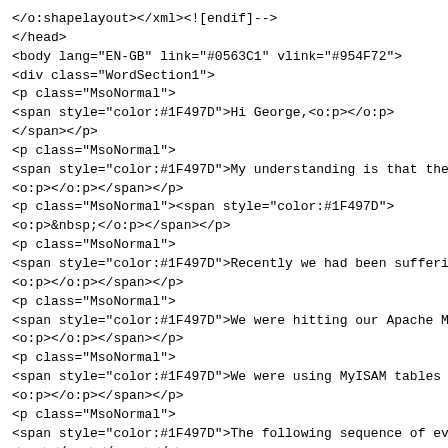</o:shapelayout></xml><![endif]-->
</head>
<body lang="EN-GB" link="#0563C1" vlink="#954F72">
<div class="WordSection1">
<p class="MsoNormal">
<span style="color:#1F497D">Hi George,<o:p></o:p>
</span></p>
<p class="MsoNormal">
<span style="color:#1F497D">My understanding is that the
<o:p></o:p></span></p>
<p class="MsoNormal"><span style="color:#1F497D">
<o:p>&nbsp;</o:p></span></p>
<p class="MsoNormal">
<span style="color:#1F497D">Recently we had been sufferin
<o:p></o:p></span></p>
<p class="MsoNormal">
<span style="color:#1F497D">We were hitting our Apache Ma
<o:p></o:p></span></p>
<p class="MsoNormal">
<span style="color:#1F497D">We were using MyISAM tables m
<o:p></o:p></span></p>
<p class="MsoNormal">
<span style="color:#1F497D">The following sequence of eve
<o:p></o:p></span></p>
<p class="MsoListParagraph" style="text-
indent:-18.0pt;mso-list:l0 level1 lfo1"><!
[if !supportLists]><span style="color:#1F497D">
<span style="mso-list:Ignore">1.
<span style="font:7.0pt &quot;Times New Roman&quot;">&nbs
</span></span></span><![endif]>